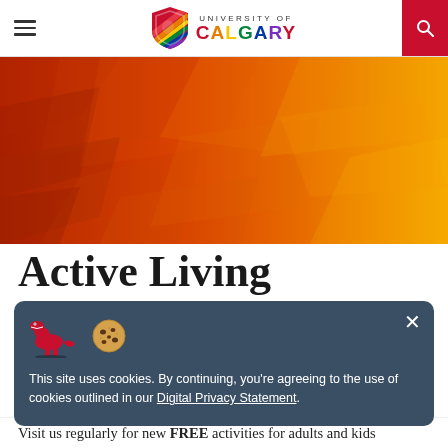University of Calgary
[Figure (illustration): Orange and red geometric polygon abstract hero banner background]
Active Living
This site uses cookies. By continuing, you're agreeing to the use of cookies outlined in our Digital Privacy Statement.
Visit us regularly for new FREE activities for adults and kids